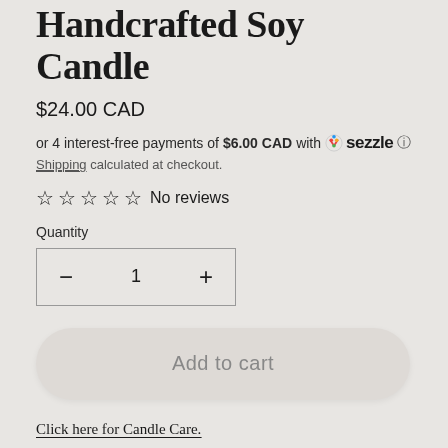Handcrafted Soy Candle
$24.00 CAD
or 4 interest-free payments of $6.00 CAD with Sezzle
Shipping calculated at checkout.
☆ ☆ ☆ ☆ ☆ No reviews
Quantity
- 1 +
Add to cart
Click here for Candle Care.